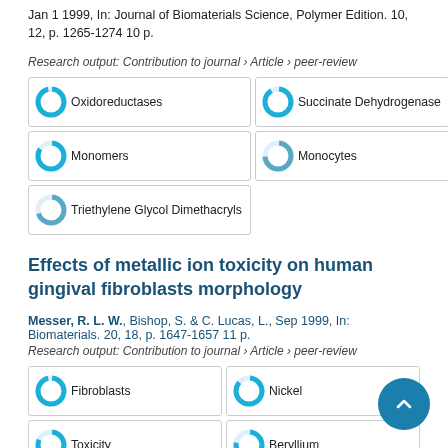Jan 1 1999, In: Journal of Biomaterials Science, Polymer Edition. 10, 12, p. 1265-1274 10 p.
Research output: Contribution to journal › Article › peer-review
[Figure (infographic): Keyword badges with donut chart icons: Oxidoreductases, Succinate Dehydrogenase, Monomers, Monocytes, Triethylene Glycol Dimethacryls]
Effects of metallic ion toxicity on human gingival fibroblasts morphology
Messer, R. L. W., Bishop, S. & C. Lucas, L., Sep 1999, In: Biomaterials. 20, 18, p. 1647-1657 11 p.
Research output: Contribution to journal › Article › peer-review
[Figure (infographic): Keyword badges with donut chart icons: Fibroblasts, Nickel, Toxicity, Beryllium, Molybdenum]